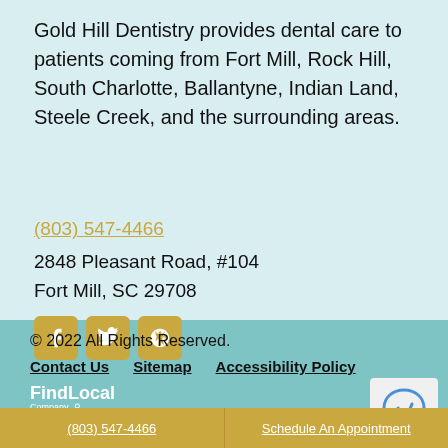Gold Hill Dentistry provides dental care to patients coming from Fort Mill, Rock Hill, South Charlotte, Ballantyne, Indian Land, Steele Creek, and the surrounding areas.
(803) 547-4466
2848 Pleasant Road, #104
Fort Mill, SC 29708
[Figure (infographic): Social media icons: Facebook, Twitter, Yelp in golden/yellow rounded square buttons]
© 2022 All Rights Reserved.
Contact Us   Sitemap   Accessibility Policy
[Figure (logo): FindLocal Company logo in white text with a circular icon]
[Figure (other): reCAPTCHA widget partially visible]
(803) 547-4466   Schedule An Appointment